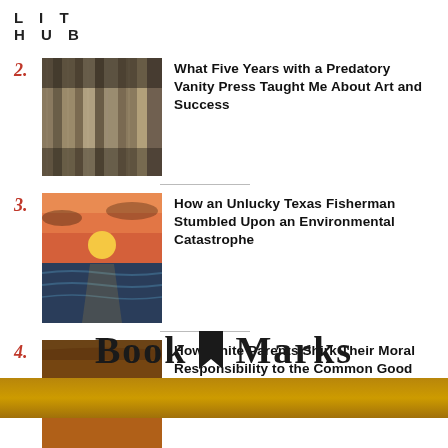LIT HUB
2. What Five Years with a Predatory Vanity Press Taught Me About Art and Success
3. How an Unlucky Texas Fisherman Stumbled Upon an Environmental Catastrophe
4. How White Parents Shirk Their Moral Responsibility to the Common Good Under the Cover of Responsible Parenting
Book Marks